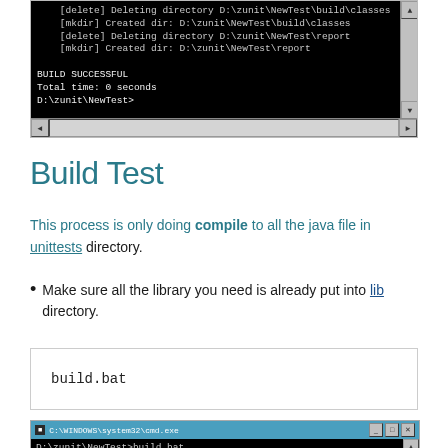[Figure (screenshot): Black terminal/command prompt window showing build output: [delete] Deleting directory D:\zunit\NewTest\build\classes, [mkdir] Created dir: D:\zunit\NewTest\build\classes, [delete] Deleting directory D:\zunit\NewTest\report, [mkdir] Created dir: D:\zunit\NewTest\report, BUILD SUCCESSFUL, Total time: 0 seconds, D:\zunit\NewTest>]
Build Test
This process is only doing compile to all the java file in unittests directory.
Make sure all the library you need is already put into lib directory.
[Figure (screenshot): Code box containing: build.bat]
[Figure (screenshot): Windows command prompt (C:\WINDOWS\system32\cmd.exe) showing: D:\zunit\NewTest>build.bat and Buildfile: build.xml]